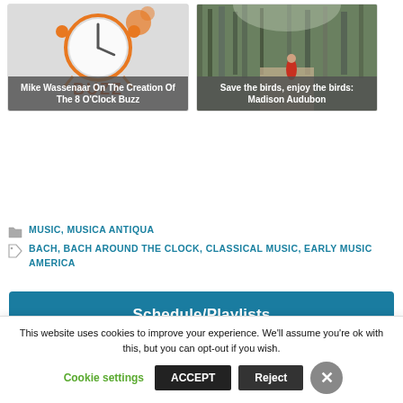[Figure (screenshot): Card image: Mike Wassenaar On The Creation Of The 8 O'Clock Buzz — clock/alarm illustration with orange bear mascot and BUZZ text]
[Figure (photo): Card image: Save the birds, enjoy the birds: Madison Audubon — forest walkway/boardwalk photo with person in red jacket]
MUSIC, MUSICA ANTIQUA
BACH, BACH AROUND THE CLOCK, CLASSICAL MUSIC, EARLY MUSIC AMERICA
Schedule/Playlists
Podcasts
This website uses cookies to improve your experience. We'll assume you're ok with this, but you can opt-out if you wish.
Cookie settings  ACCEPT  Reject